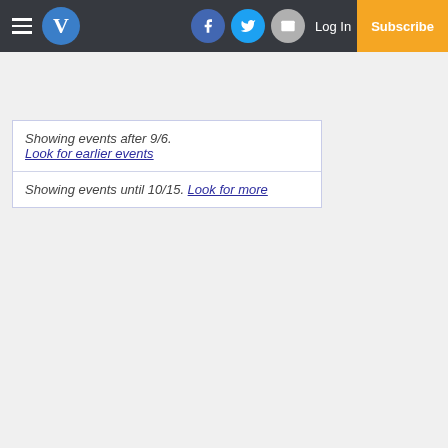Menu | V (logo) | Facebook | Twitter | Email | Log In | Subscribe
Showing events after 9/6. Look for earlier events
Showing events until 10/15. Look for more